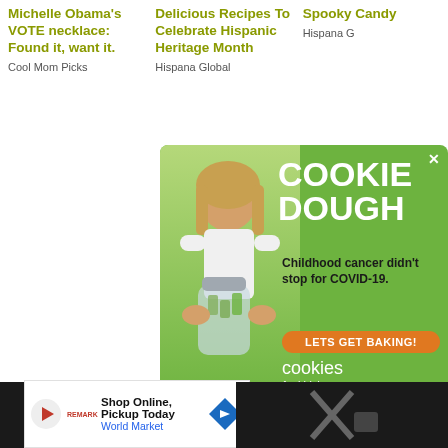Michelle Obama's VOTE necklace: Found it, want it.
Cool Mom Picks
Delicious Recipes To Celebrate Hispanic Heritage Month
Hispana Global
Spooky Candy
Hispana G
[Figure (photo): Advertisement for Cookies for Kids' Cancer showing a young girl holding a jar of money, with text: COOKIE DOUGH, Childhood cancer didn't stop for COVID-19. LETS GET BAKING! cookies for kids' cancer]
[Figure (screenshot): Bottom ad bar: Shop Online, Pickup Today - World Market, with navigation arrow icon]